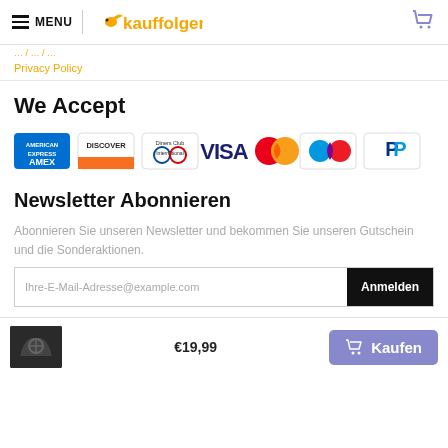MENU | kauffolgen [cart icon]
... / ... / ...
Privacy Policy
We Accept
[Figure (other): Payment method icons: American Express, Discover, Diners Club, Visa, Mastercard, Maestro, PayPal]
Newsletter Abonnieren
Abonnieren Sie unseren Newsletter und bekommen Sie unseren Gutschein und die Sonderaktionen.
Ihre-E-Mail-Adresse@example.com  [Anmelden button]
[product image]  €19,99  [Kaufen button]